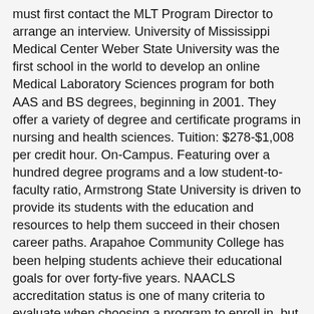must first contact the MLT Program Director to arrange an interview. University of Mississippi Medical Center Weber State University was the first school in the world to develop an online Medical Laboratory Sciences program for both AAS and BS degrees, beginning in 2001. They offer a variety of degree and certificate programs in nursing and health sciences. Tuition: $278-$1,008 per credit hour. On-Campus. Featuring over a hundred degree programs and a low student-to-faculty ratio, Armstrong State University is driven to provide its students with the education and resources to help them succeed in their chosen career paths. Arapahoe Community College has been helping students achieve their educational goals for over forty-five years. NAACLS accreditation status is one of many criteria to evaluate when choosing a program to enroll in, but it does serve as an important and reliable signifier that the school you're considering is legitimate and meets the educational standards that will help propel you in your future endeavors as a clinical technician. Accreditations: CAHME, CAPTE, CCNE,